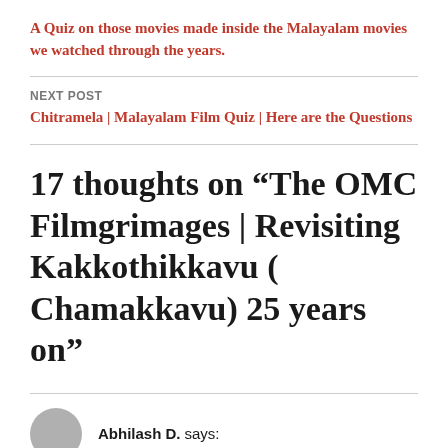A Quiz on those movies made inside the Malayalam movies we watched through the years.
NEXT POST
Chitramela | Malayalam Film Quiz | Here are the Questions
17 thoughts on “The OMC Filmgrimages | Revisiting Kakkothikkavu ( Chamakkavu) 25 years on”
Abhilash D. says: